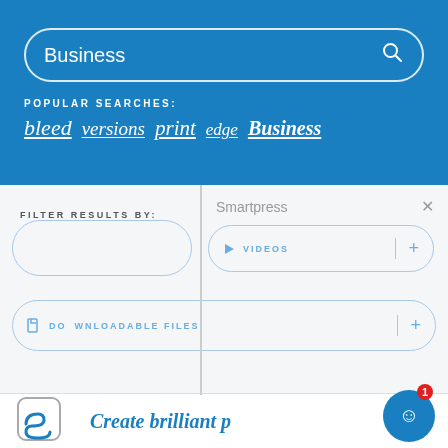[Figure (screenshot): Blue search bar with text 'Business' and search icon on right]
POPULAR SEARCHES:
bleed  versions  print  edge  Business
FILTER RESULTS BY:
Smartpress
VIDEOS
DOWNLOADABLE FILES
[Figure (logo): Smartpress logo (S in rounded square)]
Create brilliant p